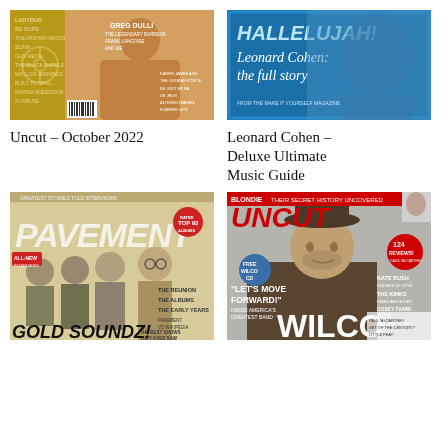[Figure (photo): Magazine cover: Uncut October 2022, gold/yellow cover with band imagery and text listings]
[Figure (photo): Magazine cover: Leonard Cohen Deluxe Ultimate Music Guide, blue cover with 'HALLELUJAH! Leonard Cohen: the full story']
Uncut – October 2022
Leonard Cohen – Deluxe Ultimate Music Guide
[Figure (photo): Magazine cover: Pavement special issue, featuring 'PAVEMENT' graffiti text, band photo, 'GOLD SOUNDZ!' headline, THE REUNION, THE ALBUMS, THE EARLY YEARS, PAVEMENT VS WIKIPEDIA, THE BEST SHOWS THEY EVER SAW]
[Figure (photo): Magazine cover: Uncut featuring Wilco, BLONDIE THEIR SECRET HISTORY UNCOVERED, FREE WILCO CD, LET'S MOVE FORWARD! INSIDE AMERICA'S GREATEST BAND, WILCO, 124 REVIEWS, KATE BUSH, THE KINKS, COSEY FANNI TUTTI, STEVE HILLAGE, PAUL McCARTNEY, LITTLE FEAT, NIGHT OF A THOUSAND BOWIES!]